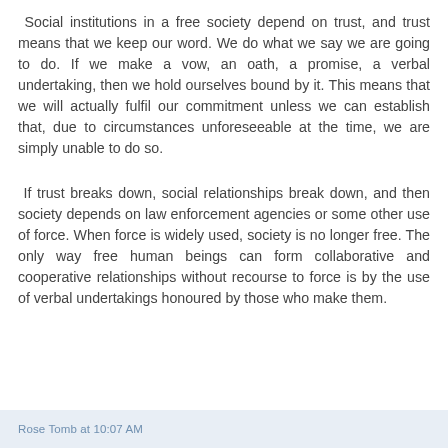Social institutions in a free society depend on trust, and trust means that we keep our word. We do what we say we are going to do. If we make a vow, an oath, a promise, a verbal undertaking, then we hold ourselves bound by it. This means that we will actually fulfil our commitment unless we can establish that, due to circumstances unforeseeable at the time, we are simply unable to do so.
If trust breaks down, social relationships break down, and then society depends on law enforcement agencies or some other use of force. When force is widely used, society is no longer free. The only way free human beings can form collaborative and cooperative relationships without recourse to force is by the use of verbal undertakings honoured by those who make them.
Rose Tomb at 10:07 AM